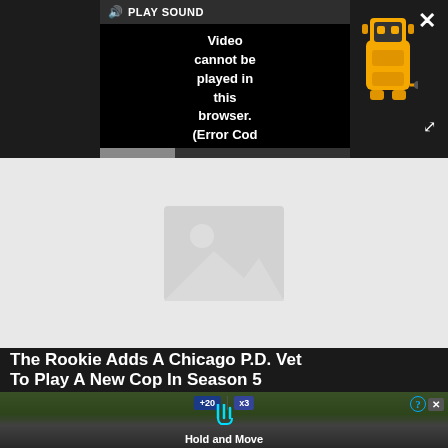[Figure (screenshot): Video player overlay with dark background showing error message: 'PLAY SOUND Video cannot be played in this browser. (Error Cod' with a yellow robot/taxi icon on the right, a white X close button top right, and expand arrows bottom right]
[Figure (screenshot): Gray placeholder image area with a gray image placeholder icon in the center]
The Rookie Adds A Chicago P.D. Vet To Play A New Cop In Season 5
[Figure (screenshot): Bottom advertisement overlay showing a mobile game with 'Hold and Move' label, score display showing +20 and x3, hand icon, with a close button (? X) in top right corner]